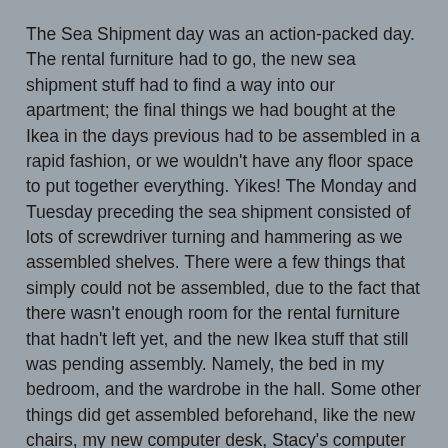The Sea Shipment day was an action-packed day. The rental furniture had to go, the new sea shipment stuff had to find a way into our apartment; the final things we had bought at the Ikea in the days previous had to be assembled in a rapid fashion, or we wouldn't have any floor space to put together everything. Yikes! The Monday and Tuesday preceding the sea shipment consisted of lots of screwdriver turning and hammering as we assembled shelves. There were a few things that simply could not be assembled, due to the fact that there wasn't enough room for the rental furniture that hadn't left yet, and the new Ikea stuff that still was pending assembly. Namely, the bed in my bedroom, and the wardrobe in the hall. Some other things did get assembled beforehand, like the new chairs, my new computer desk, Stacy's computer desk. About half of the 1200 pounds of junk that we crammed into the Monster-Mercedes.
On the morning of that Wednesday, the rental furniture people showed up to pack up their stuff, which included the kitchen-ware, the dining room table, the couch, the chairs, the bed in my room; Jake's bed, all of the furniture in the